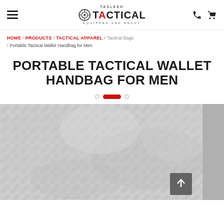Tasleeh Tactical — Equipped and Ready — navigation header with hamburger menu, logo, phone icon, cart icon
HOME / PRODUCTS / TACTICAL APPAREL / Tactical Bags / Portable Tactical Wallet Handbag for Men
PORTABLE TACTICAL WALLET HANDBAG FOR MEN
[Figure (other): Slider pagination dots: one empty circle, one active red rectangle, one empty circle]
[Figure (photo): Product image of a tactical handbag with grey fabric texture. Dark panel on the right edge. Back-to-top arrow button overlaid at bottom right.]